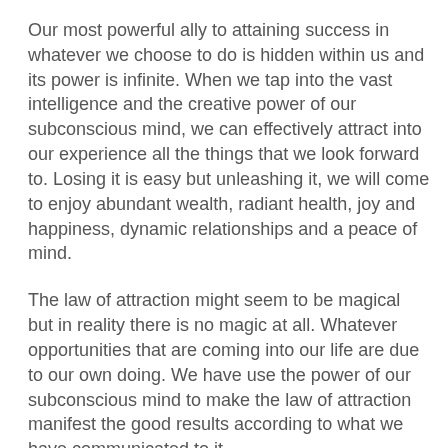Our most powerful ally to attaining success in whatever we choose to do is hidden within us and its power is infinite. When we tap into the vast intelligence and the creative power of our subconscious mind, we can effectively attract into our experience all the things that we look forward to. Losing it is easy but unleashing it, we will come to enjoy abundant wealth, radiant health, joy and happiness, dynamic relationships and a peace of mind.
The law of attraction might seem to be magical but in reality there is no magic at all. Whatever opportunities that are coming into our life are due to our own doing. We have use the power of our subconscious mind to make the law of attraction manifest the good results according to what we have communicated to it.
A multi-million dollar industry has been into existence in recent years because they introduced tons of proprietary techniques and tools targeted to help many who are searching for ways to tap into their hidden power. But are they really necessary?